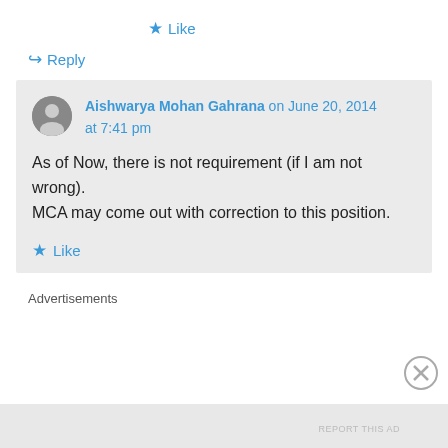★ Like
↪ Reply
Aishwarya Mohan Gahrana on June 20, 2014 at 7:41 pm
As of Now, there is not requirement (if I am not wrong).
MCA may come out with correction to this position.
★ Like
Advertisements